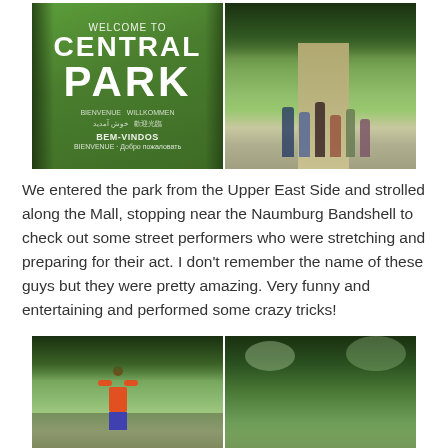[Figure (photo): Two side-by-side photos: left shows a green Central Park welcome sign with multilingual greetings; right shows a tree-lined mall path with people walking]
We entered the park from the Upper East Side and strolled along the Mall, stopping near the Naumburg Bandshell to check out some street performers who were stretching and preparing for their act. I don't remember the name of these guys but they were pretty amazing. Very funny and entertaining and performed some crazy tricks!
[Figure (photo): Two side-by-side photos at the bottom: left shows a street performer in an orange shirt in Central Park; right shows trees with green canopy in Central Park]